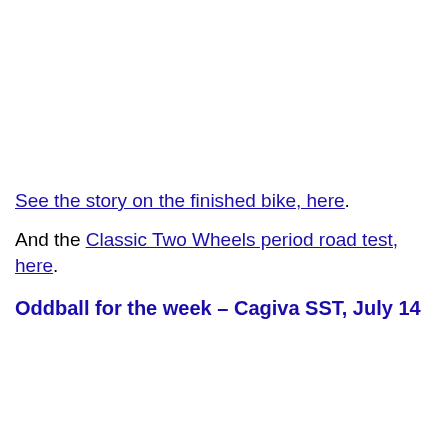See the story on the finished bike, here.
And the Classic Two Wheels period road test, here.
Oddball for the week – Cagiva SST, July 14